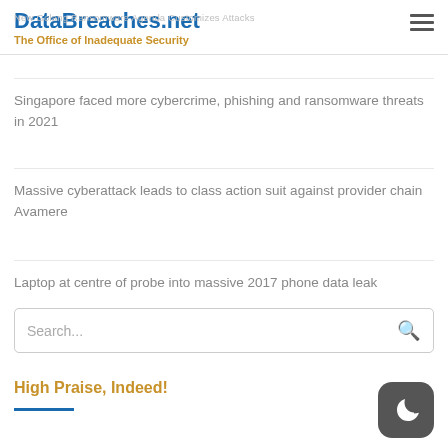DataBreaches.net
The Office of Inadequate Security
New Golang Ransomware Agenda Customizes Attacks
Singapore faced more cybercrime, phishing and ransomware threats in 2021
Massive cyberattack leads to class action suit against provider chain Avamere
Laptop at centre of probe into massive 2017 phone data leak
Search...
High Praise, Indeed!